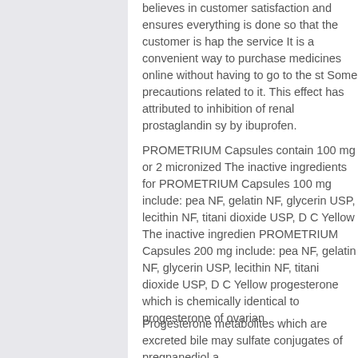believes in customer satisfaction and ensures everything is done so that the customer is happy with the service It is a convenient way to purchase medicines online without having to go to the store. Some precautions related to it. This effect has been attributed to inhibition of renal prostaglandin synthesis by ibuprofen.
PROMETRIUM Capsules contain 100 mg or 200 mg micronized The inactive ingredients for PROMETRIUM Capsules 100 mg include: peanut oil NF, gelatin NF, glycerin USP, lecithin NF, titanium dioxide USP, D C Yellow The inactive ingredients for PROMETRIUM Capsules 200 mg include: peanut oil NF, gelatin NF, glycerin USP, lecithin NF, titanium dioxide USP, D C Yellow progesterone which is chemically identical to progesterone of ovarian
Progesterone metabolites which are excreted in the bile may sulfate conjugates of pregnanediol and